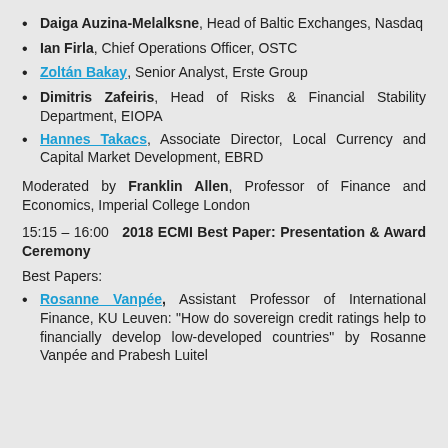Daiga Auzina-Melalksne, Head of Baltic Exchanges, Nasdaq
Ian Firla, Chief Operations Officer, OSTC
Zoltán Bakay, Senior Analyst, Erste Group
Dimitris Zafeiris, Head of Risks & Financial Stability Department, EIOPA
Hannes Takacs, Associate Director, Local Currency and Capital Market Development, EBRD
Moderated by Franklin Allen, Professor of Finance and Economics, Imperial College London
15:15 – 16:00  2018 ECMI Best Paper: Presentation & Award Ceremony
Best Papers:
Rosanne Vanpée, Assistant Professor of International Finance, KU Leuven: "How do sovereign credit ratings help to financially develop low-developed countries" by Rosanne Vanpée and Prabesh Luitel